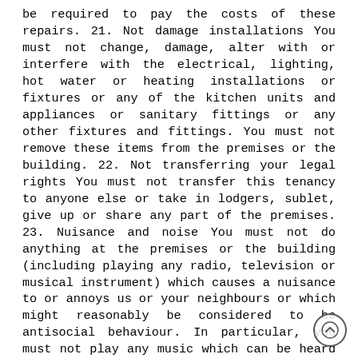be required to pay the costs of these repairs. 21. Not damage installations You must not change, damage, alter with or interfere with the electrical, lighting, hot water or heating installations or fixtures or any of the kitchen units and appliances or sanitary fittings or any other fixtures and fittings. You must not remove these items from the premises or the building. 22. Not transferring your legal rights You must not transfer this tenancy to anyone else or take in lodgers, sublet, give up or share any part of the premises. 23. Nuisance and noise You must not do anything at the premises or the building (including playing any radio, television or musical instrument) which causes a nuisance to or annoys us or your neighbours or which might reasonably be considered to be antisocial behaviour. In particular, you must not play any music which can be heard outside the premises between 11.00pm and 8.30am. 24. Harassment You and anyone visiting your premises must not harass anyone for any reason so that anyone in the building is offended and cannot live there peacefully. 25. Not place notices on the premises You must not place any sign, poster, or item of clothing on the premises which can be seen from the outside. 26. Not fix an aerial or satellite dish You must not fix any aerial or